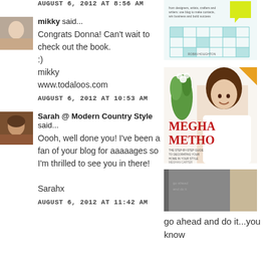AUGUST 6, 2012 AT 8:56 AM
[Figure (photo): Book cover with grid/tile pattern and yellow speech bubble graphic]
mikky said...
Congrats Donna! Can't wait to check out the book.
:)
mikky
www.todaloos.com
AUGUST 6, 2012 AT 10:53 AM
[Figure (photo): Avatar portrait of mikky]
[Figure (photo): Book cover: Meghan Method - The Step-by-Step Guide to Decorating Your Home in Your Style by Meghan Carter]
Sarah @ Modern Country Style said...
Oooh, well done you! I've been a fan of your blog for aaaaages so I'm thrilled to see you in there!

Sarahx
AUGUST 6, 2012 AT 11:42 AM
[Figure (photo): Avatar portrait of Sarah]
[Figure (photo): Gray book cover]
go ahead and do it...you know